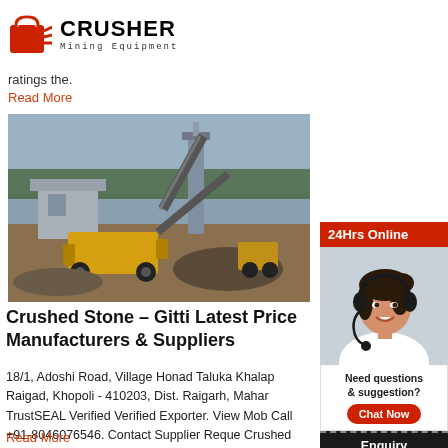[Figure (logo): Crusher Mining Equipment logo with red shopping bag icon and bold CRUSHER text]
ratings the.
Read More
[Figure (photo): Outdoor mining/quarry site with large industrial crusher machinery, conveyor belts, and stone aggregate piles under a cloudy sky]
Crushed Stone – Gitti Latest Price Manufacturers & Suppliers
18/1, Adoshi Road, Village Honad Taluka Khalap Raigad, Khopoli - 410203, Dist. Raigarh, Maharashtra. TrustSEAL Verified Verified Exporter. View Mob. Call +91-8046076546. Contact Supplier Request Crushed Stone, For Construction ₹ 675/ Ton. Ge 20mm Black Stone Aggregate. ₹ 300/ Metric To Price.
Read More
[Figure (infographic): 24Hrs Online sidebar with woman wearing headset, Need questions & suggestion?, Chat Now button, Enquiry section, limingjlmofen@sina.com contact]